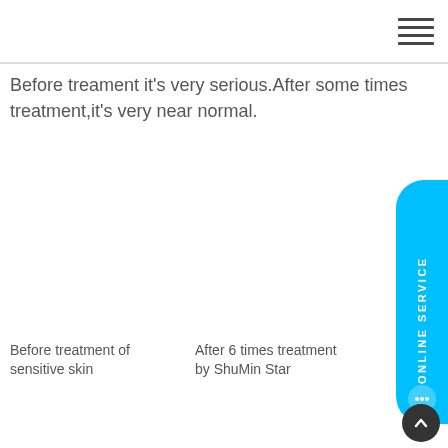Before treament it’s very serious.After some times treatment,it’s very near normal.
Before treatment of sensitive skin
After 6 times treatment by ShuMin Star